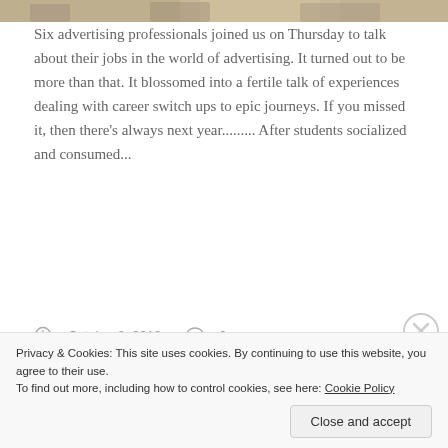[Figure (photo): Top edge of a photograph showing people, cropped, serving as article header image]
Six advertising professionals joined us on Thursday to talk about their jobs in the world of advertising. It turned out to be more than that. It blossomed into a fertile talk of experiences dealing with career switch ups to epic journeys. If you missed it, then there's always next year......... After students socialized and consumed...
Continue Reading →
October 8, 2018  0
Advertisements
Privacy & Cookies: This site uses cookies. By continuing to use this website, you agree to their use.
To find out more, including how to control cookies, see here: Cookie Policy
Close and accept